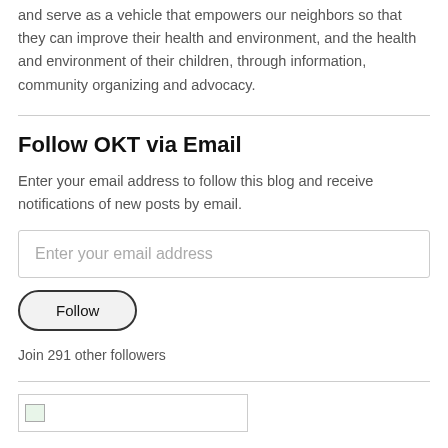and serve as a vehicle that empowers our neighbors so that they can improve their health and environment, and the health and environment of their children, through information, community organizing and advocacy.
Follow OKT via Email
Enter your email address to follow this blog and receive notifications of new posts by email.
Enter your email address
Follow
Join 291 other followers
[Figure (other): Small image placeholder with broken image icon]